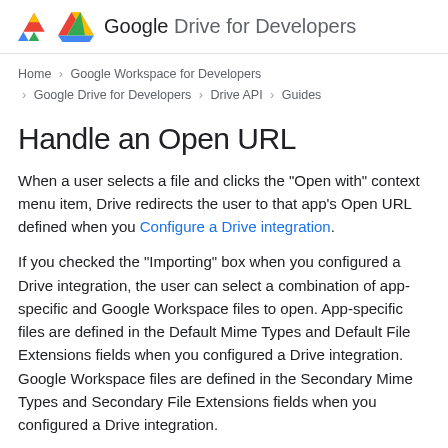Google Drive for Developers
Home > Google Workspace for Developers > Google Drive for Developers > Drive API > Guides
Handle an Open URL
When a user selects a file and clicks the "Open with" context menu item, Drive redirects the user to that app's Open URL defined when you Configure a Drive integration.
If you checked the "Importing" box when you configured a Drive integration, the user can select a combination of app-specific and Google Workspace files to open. App-specific files are defined in the Default Mime Types and Default File Extensions fields when you configured a Drive integration. Google Workspace files are defined in the Secondary Mime Types and Secondary File Extensions fields when you configured a Drive integration.